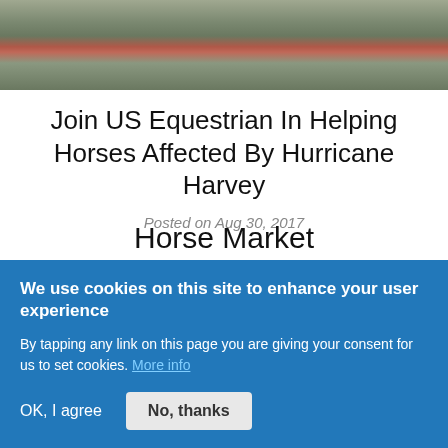[Figure (photo): Partial photo of horses or water scene, cropped at top of page]
Join US Equestrian In Helping Horses Affected By Hurricane Harvey
Posted on Aug 30, 2017
Horse Market
We use cookies on this site to enhance your user experience
By tapping any link on this page you are giving your consent for us to set cookies. More info
OK, I agree   No, thanks